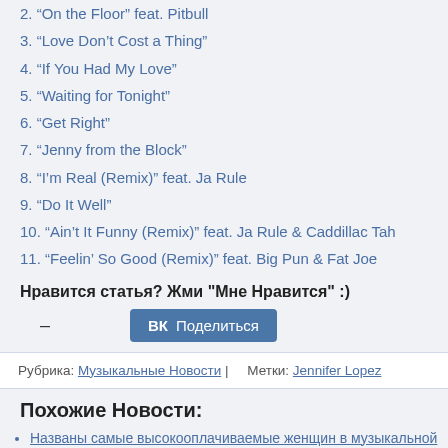2. “On the Floor” feat. Pitbull
3. “Love Don’t Cost a Thing”
4. “If You Had My Love”
5. “Waiting for Tonight”
6. “Get Right”
7. “Jenny from the Block”
8. “I’m Real (Remix)” feat. Ja Rule
9. “Do It Well”
10. “Ain’t It Funny (Remix)” feat. Ja Rule & Caddillac Tah
11. “Feelin’ So Good (Remix)” feat. Big Pun & Fat Joe
Нравится статья? Жми "Мне Нравится" :)
- Поделиться
Рубрика: Музыкальные Новости | Метки: Jennifer Lopez
Похожие Новости:
Названы самые высокооплачиваемые женщин в музыкальной индустрии
Новый яркий сингл от J. Lopez, Prince Royce и Pitbull
Jennifer Lopez выпустила клип на песню “Feel the Light”
15 самых сексуальных клипов 2014 года (видео)
Победители церемонии American Music Awards — 2014